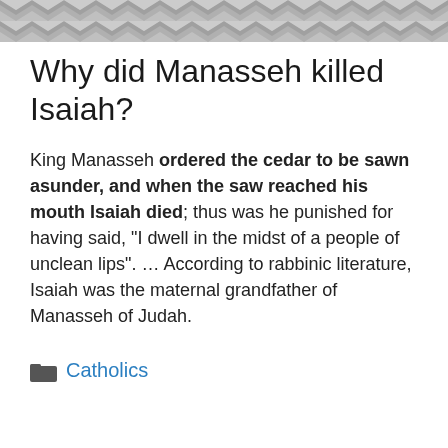[Figure (other): Decorative zigzag/chevron pattern header banner in grey tones]
Why did Manasseh killed Isaiah?
King Manasseh ordered the cedar to be sawn asunder, and when the saw reached his mouth Isaiah died; thus was he punished for having said, “I dwell in the midst of a people of unclean lips”. … According to rabbinic literature, Isaiah was the maternal grandfather of Manasseh of Judah.
Catholics